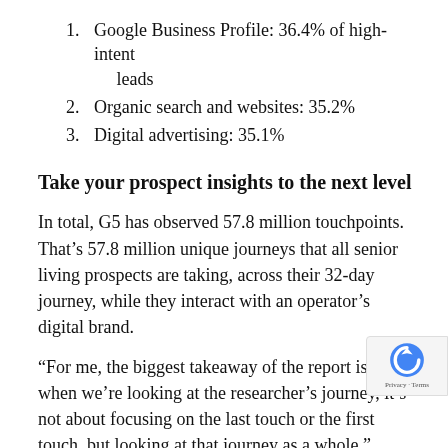Google Business Profile: 36.4% of high-intent leads
Organic search and websites: 35.2%
Digital advertising: 35.1%
Take your prospect insights to the next level
In total, G5 has observed 57.8 million touchpoints. That’s 57.8 million unique journeys that all senior living prospects are taking, across their 32-day journey, while they interact with an operator’s digital brand.
“For me, the biggest takeaway of the report is that when we’re looking at the researcher’s journey, it’s not about focusing on the last touch or the first touch, but looking at that journey as a whole,” Johnson says. are tracking that journey from the first click on Go to a qualified call, and ultimately a move-in with a